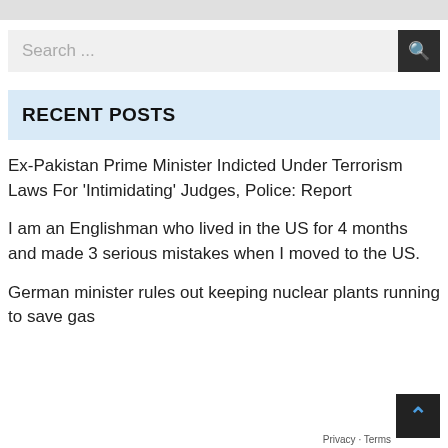[Figure (screenshot): Top grey bar, partial screenshot element]
Search ...
RECENT POSTS
Ex-Pakistan Prime Minister Indicted Under Terrorism Laws For 'Intimidating' Judges, Police: Report
I am an Englishman who lived in the US for 4 months and made 3 serious mistakes when I moved to the US.
German minister rules out keeping nuclear plants running to save gas